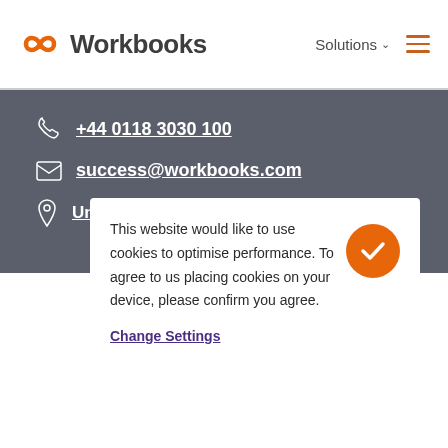Workbooks | Solutions
+44 0118 3030 100
success@workbooks.com
Unit 9 Suttons Business Park, Suttons
This website would like to use cookies to optimise performance. To agree to us placing cookies on your device, please confirm you agree.
Change Settings